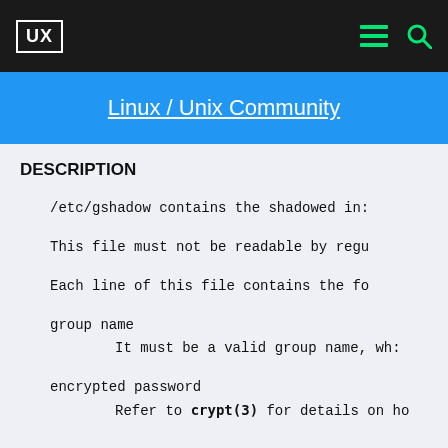UX  [menu icon] [search icon]
Linux / Unix Community
DESCRIPTION
/etc/gshadow contains the shadowed in:
This file must not be readable by regu
Each line of this file contains the fo
group name
        It must be a valid group name, wh:
encrypted password
        Refer to crypt(3) for details on ho